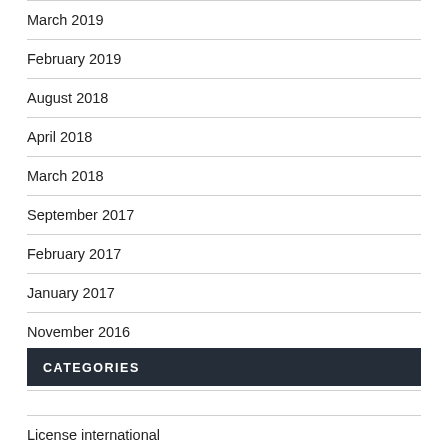March 2019
February 2019
August 2018
April 2018
March 2018
September 2017
February 2017
January 2017
November 2016
September 2013
CATEGORIES
License international